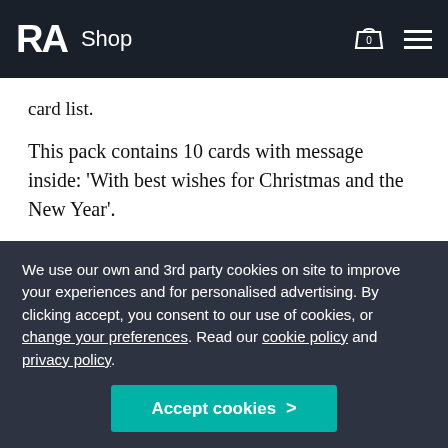RA Shop
card list.
This pack contains 10 cards with message inside: 'With best wishes for Christmas and the New Year'.
Read more
More details
Dimensions  15 x 17 x 15cm
We use our own and 3rd party cookies on site to improve your experiences and for personalised advertising. By clicking accept, you consent to our use of cookies, or change your preferences. Read our cookie policy and privacy policy.
Accept cookies